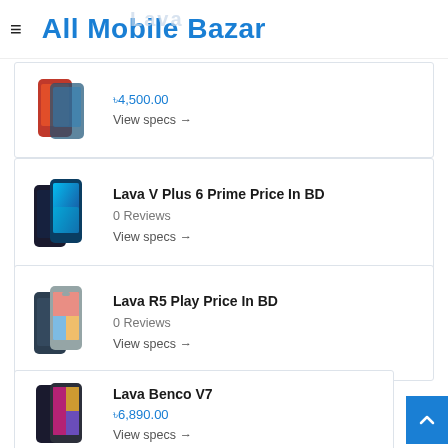All Mobile Bazar
Lava Z41 Price In BD
৳4,500.00
View specs →
Lava V Plus 6 Prime Price In BD
0 Reviews
View specs →
Lava R5 Play Price In BD
0 Reviews
View specs →
Lava Benco V7
৳6,890.00
View specs →
(partial card — bottom of page)